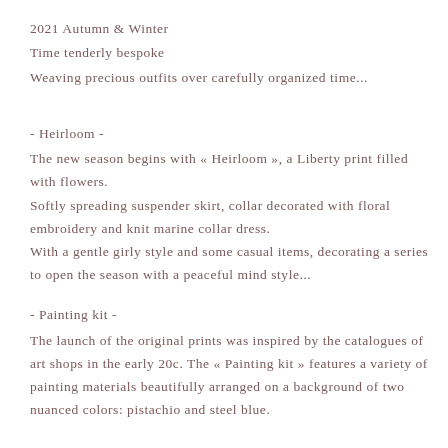2021 Autumn & Winter
Time tenderly bespoke
Weaving precious outfits over carefully organized time...
- Heirloom -
The new season begins with « Heirloom », a Liberty print filled with flowers.
Softly spreading suspender skirt, collar decorated with floral embroidery and knit marine collar dress.
With a gentle girly style and some casual items, decorating a series to open the season with a peaceful mind style...
- Painting kit -
The launch of the original prints was inspired by the catalogues of art shops in the early 20c. The « Painting kit » features a variety of painting materials beautifully arranged on a background of two nuanced colors: pistachio and steel blue.